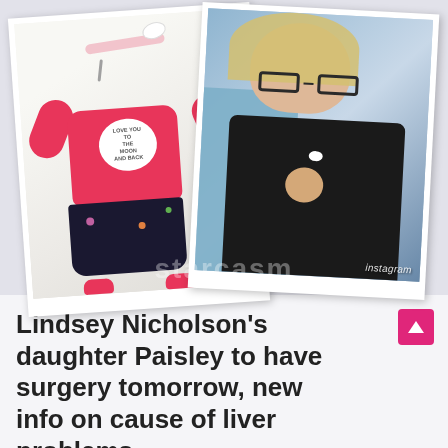[Figure (photo): Two polaroid-style photos: left shows a baby girl in a pink 'Love You to the Moon and Back' onesie with dark floral pants, lying on white fur; right shows a blonde woman with glasses holding a baby in a black carrier, with 'instagram' watermark. 'starcasm' watermark overlaid across both photos.]
Lindsey Nicholson’s daughter Paisley to have surgery tomorrow, new info on cause of liver problems